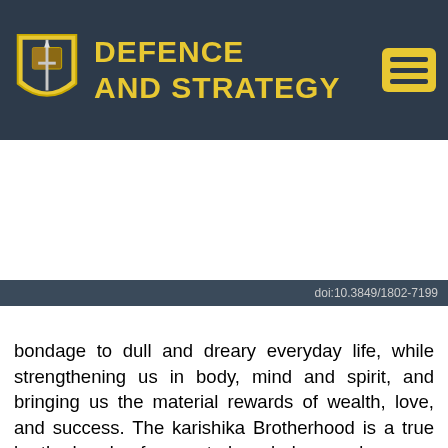DEFENCE AND STRATEGY
doi:10.3849/1802-7199
bondage to dull and dreary everyday life, while strengthening us in body, mind and spirit, and bringing us the material rewards of wealth, love, and success. The karishika Brotherhood is a true brotherhood of secret knowledge and power. membership into our fraternity is free and normally through a thorough screening. we are here to liberate those who need wealth, riches, power, prosperity, protection and success in all ramification. Illuminati brotherhood offers all initiate members growth, wealth, fame, power, prosperity and success in all areas of heart desires. we don't demand human sacrifice, the use of any human parts or early personal death as a precondition for you to become our member. we are not suppose to be on the internet but because of questions and comments join secret society or cult to make money how can join occult for riches i want to be rich but i don't know how etc. how do i do money ritual how do i join good occult that will not affect me and my family forever we are now and some of our benefits are power, rich,fame, healthy, house,cars,jobs,security,education,deplomatic passport,citizenship ant any countries of your choice,here for